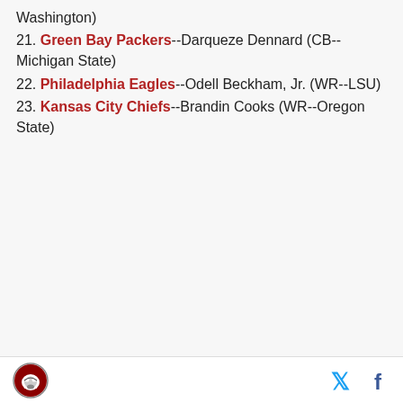Washington)
21. Green Bay Packers--Darqueze Dennard (CB--Michigan State)
22. Philadelphia Eagles--Odell Beckham, Jr. (WR--LSU)
23. Kansas City Chiefs--Brandin Cooks (WR--Oregon State)